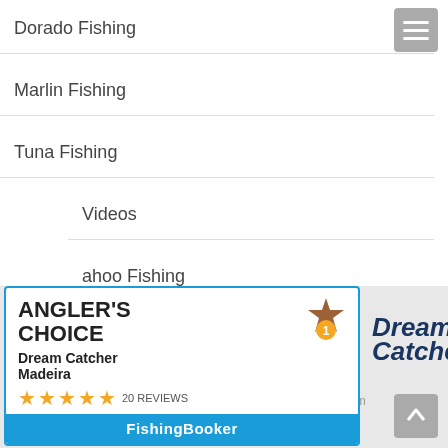Dorado Fishing
Marlin Fishing
Tuna Fishing
Videos
Wahoo Fishing
[Figure (logo): Dream Catcher logo with marlin fish silhouette]
2016 © MadeiraBigGame.com
footer
[Figure (infographic): Angler's Choice award box: Dream Catcher Madeira, 20 reviews, FishingBooker]